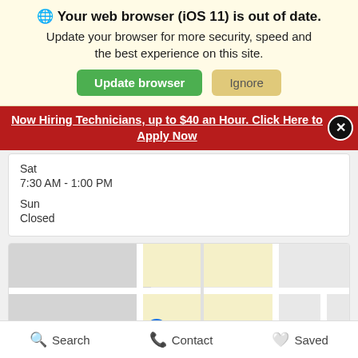🌐 Your web browser (iOS 11) is out of date. Update your browser for more security, speed and the best experience on this site.
Update browser | Ignore
Now Hiring Technicians, up to $40 an Hour. Click Here to Apply Now
Sat
7:30 AM - 1:00 PM
Sun
Closed
[Figure (map): Google Maps showing location of Hy-Vee Grocery Store with a blue pin marker]
Search | Contact | Saved